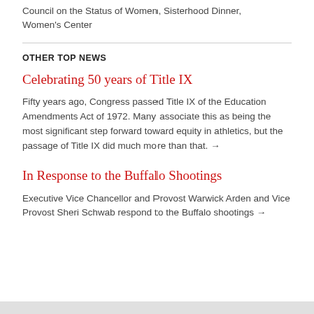Council on the Status of Women, Sisterhood Dinner, Women's Center
OTHER TOP NEWS
Celebrating 50 years of Title IX
Fifty years ago, Congress passed Title IX of the Education Amendments Act of 1972. Many associate this as being the most significant step forward toward equity in athletics, but the passage of Title IX did much more than that. →
In Response to the Buffalo Shootings
Executive Vice Chancellor and Provost Warwick Arden and Vice Provost Sheri Schwab respond to the Buffalo shootings →